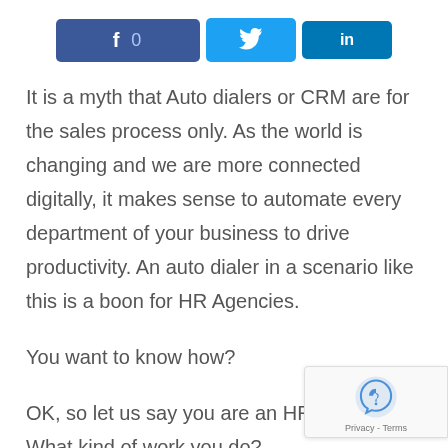[Figure (other): Social share buttons: Facebook with count 0, Twitter, LinkedIn]
It is a myth that Auto dialers or CRM are for the sales process only. As the world is changing and we are more connected digitally, it makes sense to automate every department of your business to drive productivity. An auto dialer in a scenario like this is a boon for HR Agencies.
You want to know how?
OK, so let us say you are an HR agency... What kind of work you do?
You look for the right candidate for a